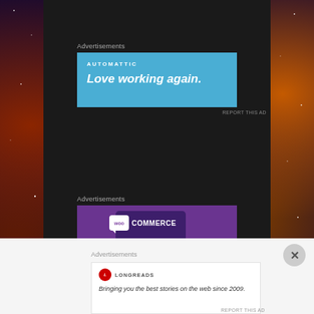Advertisements
[Figure (screenshot): Automattic advertisement banner with blue background. Text: 'AUTOMATTIC' and 'Love working again.' in italic white text.]
REPORT THIS AD
Advertisements
[Figure (screenshot): WooCommerce advertisement with purple background. Shows WooCommerce logo and text: 'The most customizable eCommerce platform' with a shopping cart icon.]
Advertisements
[Figure (screenshot): Longreads advertisement banner. Shows Longreads logo with red circle and text: 'Bringing you the best stories on the web since 2009.']
REPORT THIS AD